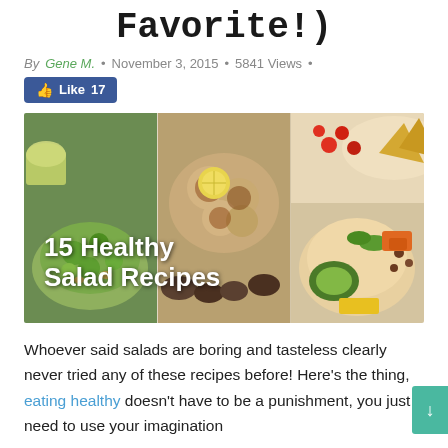Favorite!)
By Gene M. · November 3, 2015 · 5841 Views ·
[Figure (photo): Collage of three healthy salad photos with overlay text '15 Healthy Salad Recipes']
Whoever said salads are boring and tasteless clearly never tried any of these recipes before! Here's the thing, eating healthy doesn't have to be a punishment, you just need to use your imagination